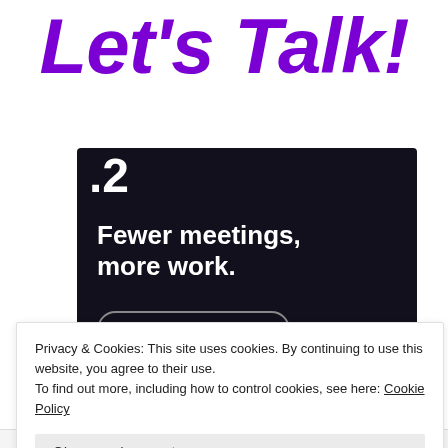Let's Talk!
[Figure (screenshot): Dark card with white text showing '#2' at top, bold text 'Fewer meetings, more work.' and a 'Get started for free' button with rounded border]
Privacy & Cookies: This site uses cookies. By continuing to use this website, you agree to their use.
To find out more, including how to control cookies, see here: Cookie Policy
Close and accept